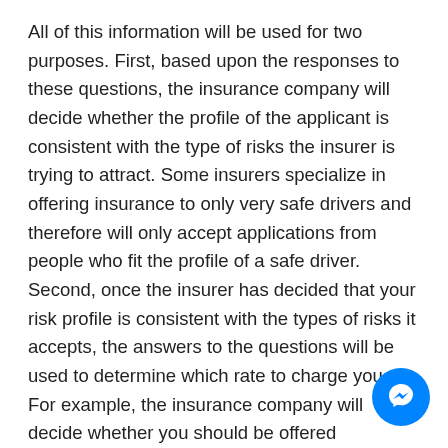All of this information will be used for two purposes. First, based upon the responses to these questions, the insurance company will decide whether the profile of the applicant is consistent with the type of risks the insurer is trying to attract. Some insurers specialize in offering insurance to only very safe drivers and therefore will only accept applications from people who fit the profile of a safe driver. Second, once the insurer has decided that your risk profile is consistent with the types of risks it accepts, the answers to the questions will be used to determine which rate to charge you. For example, the insurance company will decide whether you should be offered insurance at the high-risk driver rate or the low-risk driver rate.